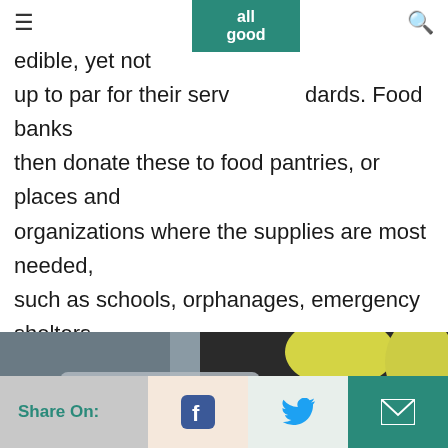all good
consumers donate good [foods] that are still edible, yet not up to par for their service standards. Food banks then donate these to food pantries, or places and organizations where the supplies are most needed, such as schools, orphanages, emergency shelters, and feeding programs. They can also distribute directly to the beneficiaries.
[Figure (photo): Photo of food donation items with colorful mural artwork in the background featuring yellow, red, blue floral/butterfly shapes]
Share On: [Facebook] [Twitter] [Email]